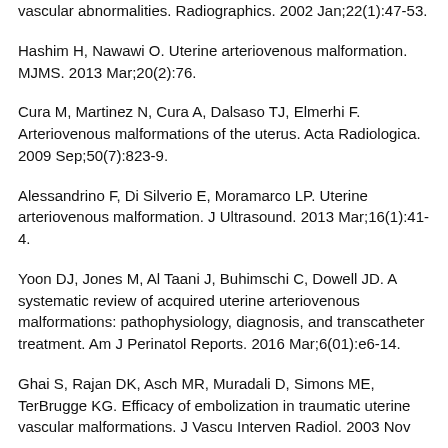vascular abnormalities. Radiographics. 2002 Jan;22(1):47-53.
Hashim H, Nawawi O. Uterine arteriovenous malformation. MJMS. 2013 Mar;20(2):76.
Cura M, Martinez N, Cura A, Dalsaso TJ, Elmerhi F. Arteriovenous malformations of the uterus. Acta Radiologica. 2009 Sep;50(7):823-9.
Alessandrino F, Di Silverio E, Moramarco LP. Uterine arteriovenous malformation. J Ultrasound. 2013 Mar;16(1):41-4.
Yoon DJ, Jones M, Al Taani J, Buhimschi C, Dowell JD. A systematic review of acquired uterine arteriovenous malformations: pathophysiology, diagnosis, and transcatheter treatment. Am J Perinatol Reports. 2016 Mar;6(01):e6-14.
Ghai S, Rajan DK, Asch MR, Muradali D, Simons ME, TerBrugge KG. Efficacy of embolization in traumatic uterine vascular malformations. J Vascu Interven Radiol. 2003 Nov